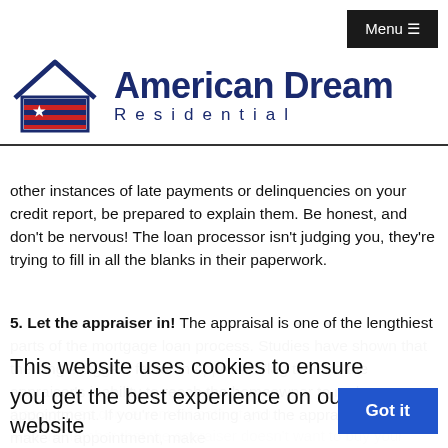Menu ≡
[Figure (logo): American Dream Residential logo with house icon featuring a star and red stripes, and bold dark blue text reading 'American Dream Residential']
other instances of late payments or delinquencies on your credit report, be prepared to explain them. Be honest, and don't be nervous! The loan processor isn't judging you, they're trying to fill in all the blanks in their paperwork.
5. Let the appraiser in! The appraisal is one of the lengthiest parts of the mortgage loan process. Studies have shown that the single biggest factor in appraisal "lag time" is the appraiser's inability to reach the homeowner to make an appointment. If you're refinancing and the appraiser calls to make an appointment, make it as soon as convenient for both of you.
Also, remember that the appraiser doesn't want to buy your house. He or she will say what the house is worth clean and in reasonable repair, even if you have some dirty laundry on the floor.
This website uses cookies to ensure you get the best experience on our website
Got it